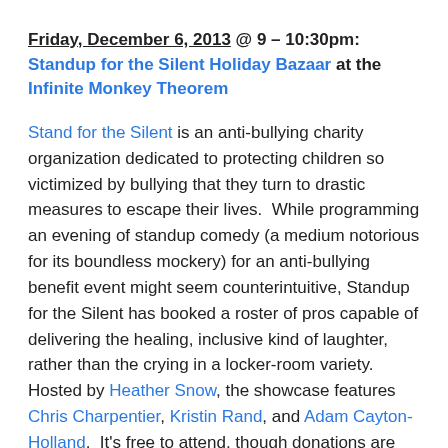Friday, December 6, 2013 @ 9 – 10:30pm: Standup for the Silent Holiday Bazaar at the Infinite Monkey Theorem
Stand for the Silent is an anti-bullying charity organization dedicated to protecting children so victimized by bullying that they turn to drastic measures to escape their lives. While programming an evening of standup comedy (a medium notorious for its boundless mockery) for an anti-bullying benefit event might seem counterintuitive, Standup for the Silent has booked a roster of pros capable of delivering the healing, inclusive kind of laughter, rather than the crying in a locker-room variety. Hosted by Heather Snow, the showcase features Chris Charpentier, Kristin Rand, and Adam Cayton-Holland. It's free to attend, though donations are appreciated.